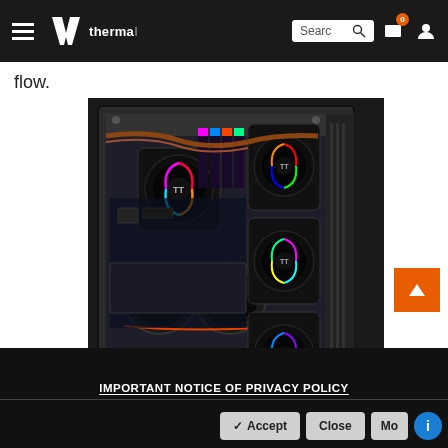Thermaltake website header with hamburger menu, logo, search bar, cart and user icons
flow.
[Figure (photo): Thermaltake PC build inside a tower case with RGB fans, liquid cooling, and multiple components visible through tempered glass side panel]
IMPORTANT NOTICE OF PRIVACY POLICY
Accept  Close  More  (info button)